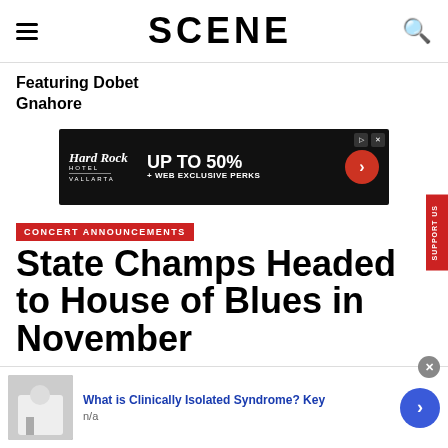SCENE
Featuring Dobet Gnahore
[Figure (infographic): Hard Rock Hotel Vallarta advertisement: UP TO 50% + WEB EXCLUSIVE PERKS]
CONCERT ANNOUNCEMENTS
State Champs Headed to House of Blues in November
[Figure (infographic): Bottom overlay ad: What is Clinically Isolated Syndrome? Key — n/a]
SUPPORT US